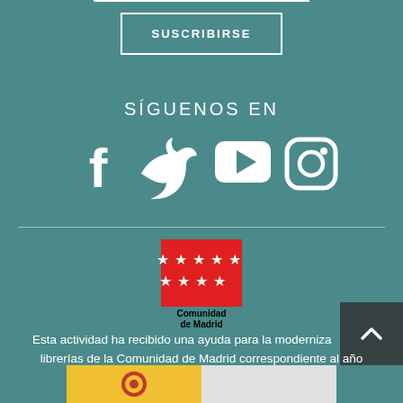SUSCRIBIRSE
SÍGUENOS EN
[Figure (illustration): Social media icons: Facebook, Twitter, YouTube, Instagram in white on teal background]
[Figure (logo): Comunidad de Madrid logo - red square with white stars and black text]
Esta actividad ha recibido una ayuda para la modernización de librerías de la Comunidad de Madrid correspondiente al año 2020
[Figure (illustration): Spanish government flag/banner partially visible at bottom]